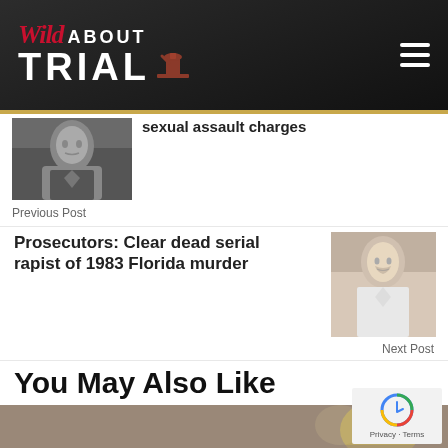Wild About Trial
sexual assault charges
Previous Post
Prosecutors: Clear dead serial rapist of 1983 Florida murder
Next Post
You May Also Like
[Figure (photo): Beer cans (Miller Lite) on a production line, blurred background with bokeh lighting]
Privacy · Terms